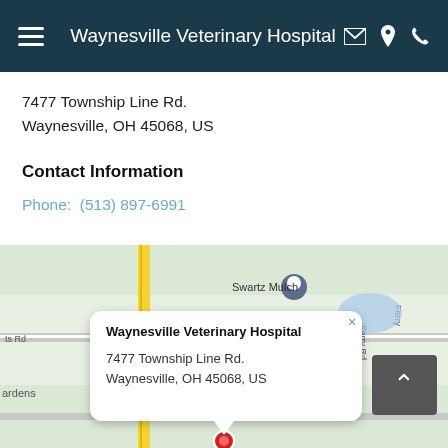Waynesville Veterinary Hospital
7477 Township Line Rd.
Waynesville, OH 45068, US
Contact Information
Phone:  (513) 897-6991
[Figure (map): Google Maps view showing location of Waynesville Veterinary Hospital near Swartz Mulch on E Lytle 5 Points Rd, with route 48 and 132 visible. A popup shows: Waynesville Veterinary Hospital, 7477 Township Line Rd., Waynesville, OH 45068, US. A red marker indicates the hospital location.]